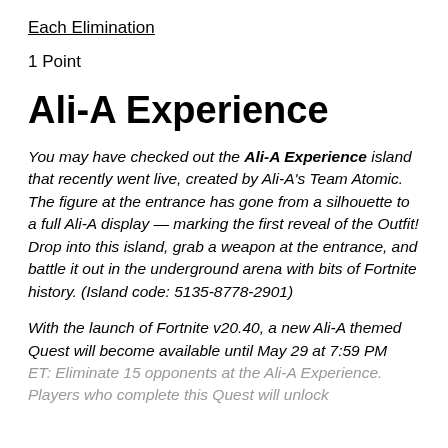Each Elimination
1 Point
Ali-A Experience
You may have checked out the Ali-A Experience island that recently went live, created by Ali-A's Team Atomic. The figure at the entrance has gone from a silhouette to a full Ali-A display — marking the first reveal of the Outfit! Drop into this island, grab a weapon at the entrance, and battle it out in the underground arena with bits of Fortnite history. (Island code: 5135-8778-2901)
With the launch of Fortnite v20.40, a new Ali-A themed Quest will become available until May 29 at 7:59 PM ET: Eliminate 15 opponents at the Ali-A Experience. Players who complete this Quest will unlock